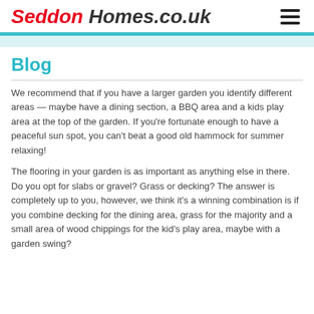Seddon Homes.co.uk
Blog
We recommend that if you have a larger garden you identify different areas — maybe have a dining section, a BBQ area and a kids play area at the top of the garden. If you're fortunate enough to have a peaceful sun spot, you can't beat a good old hammock for summer relaxing!
The flooring in your garden is as important as anything else in there. Do you opt for slabs or gravel? Grass or decking? The answer is completely up to you, however, we think it's a winning combination is if you combine decking for the dining area, grass for the majority and a small area of wood chippings for the kid's play area, maybe with a garden swing?